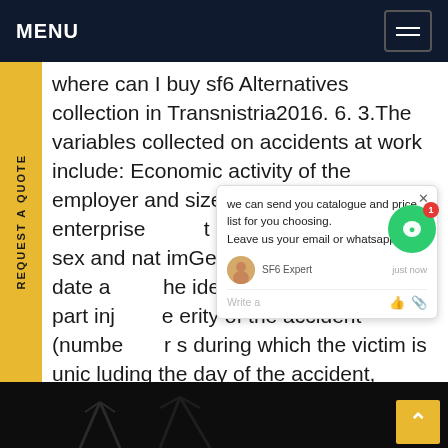MENU
where can I buy sf6 Alternatives collection in Transnistria2016. 6. 3.The variables collected on accidents at work include: Economic activity of the employer and size of the enterprise t us, occupation, age, sex and nat imGeographical location, date a he identType of injury, body part inj e erity of the accident (number f r s during which the victim is unit luding the day of the accident, permanent apacity or death within one year of the ident).Variables on causes andGet price
[Figure (screenshot): Chat popup widget showing 'we can send you catalogue and price list for you choosing. Leave us your email or whatsapp.' with SF6 Expert avatar and just now timestamp, plus a green chat bubble button with red badge showing 1]
[Figure (photo): Dark background photo showing electrical tower/pylon silhouette at night]